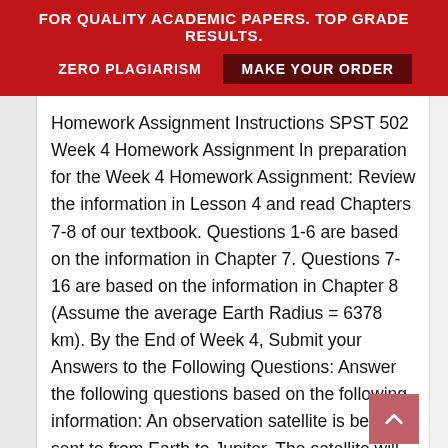FOR QUALITY ACADEMIC PAPERS. TOP GRADE RESULTS. ZERO PLAGIARISM MAKE YOUR ORDER
Homework Assignment Instructions SPST 502 Week 4 Homework Assignment In preparation for the Week 4 Homework Assignment: Review the information in Lesson 4 and read Chapters 7-8 of our textbook. Questions 1-6 are based on the information in Chapter 7. Questions 7-16 are based on the information in Chapter 8 (Assume the average Earth Radius = 6378 km). By the End of Week 4, Submit your Answers to the Following Questions: Answer the following questions based on the following information: An observation satellite is being sent to from Earth to Jupiter. The satellite will leave from Earth